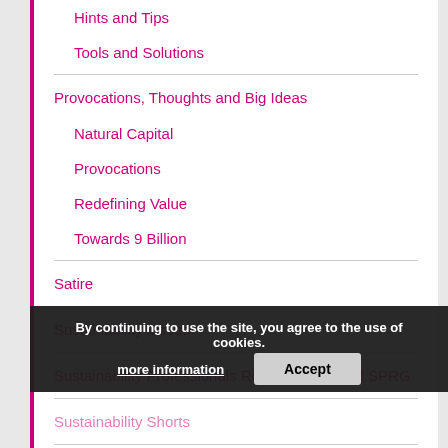Hints and Tips
Tools and Solutions
Provocations, Thoughts and Big Ideas
Natural Capital
Provocations
Redefining Value
Towards 9 Billion
Satire
Sustainability Issues
Sustainability Professionals Resilience Group | SPRG
Sustainability Shorts
Sustainable Business Management
By continuing to use the site, you agree to the use of cookies.
more information
Accept